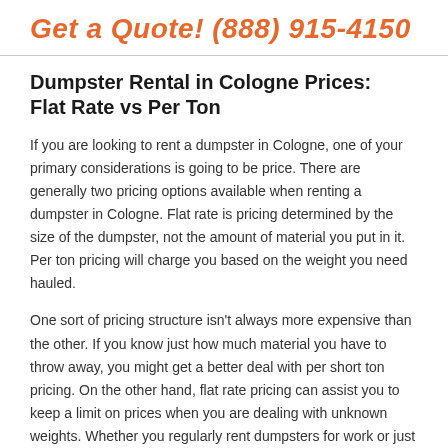Get a Quote! (888) 915-4150
Dumpster Rental in Cologne Prices: Flat Rate vs Per Ton
If you are looking to rent a dumpster in Cologne, one of your primary considerations is going to be price. There are generally two pricing options available when renting a dumpster in Cologne. Flat rate is pricing determined by the size of the dumpster, not the amount of material you put in it. Per ton pricing will charge you based on the weight you need hauled.
One sort of pricing structure isn't always more expensive than the other. If you know just how much material you have to throw away, you might get a better deal with per short ton pricing. On the other hand, flat rate pricing can assist you to keep a limit on prices when you are dealing with unknown weights. Whether you regularly rent dumpsters for work or just need a one-time rental